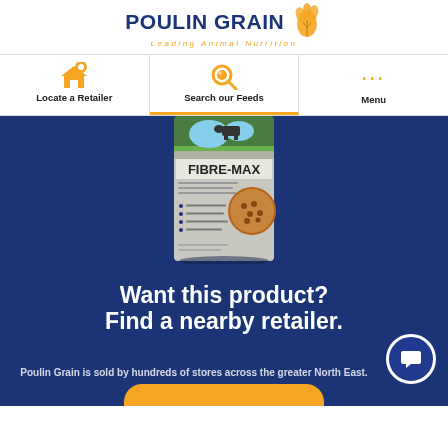[Figure (logo): Poulin Grain logo with wheat graphic and tagline 'Leading Animal Nutrition']
Locate a Retailer
Search our Feeds
Menu
[Figure (photo): Fibre-Max product bag by Poulin Grain shown against dark blue background]
Want this product? Find a nearby retailer.
Poulin Grain is sold by hundreds of stores across the greater North East.